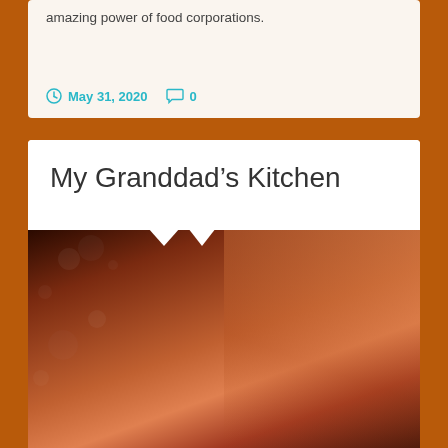amazing power of food corporations.
May 31, 2020  0
My Granddad’s Kitchen
[Figure (photo): A vintage warm-toned photograph of an older man with glasses and dark hair leaning close to a young child with light hair. The image has a bokeh background with scattered light spots and warm orange-brown tones.]